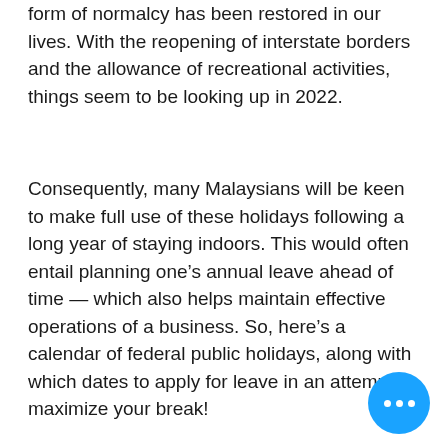form of normalcy has been restored in our lives. With the reopening of interstate borders and the allowance of recreational activities, things seem to be looking up in 2022.
Consequently, many Malaysians will be keen to make full use of these holidays following a long year of staying indoors. This would often entail planning one’s annual leave ahead of time — which also helps maintain effective operations of a business. So, here’s a calendar of federal public holidays, along with which dates to apply for leave in an attempt to maximize your break!